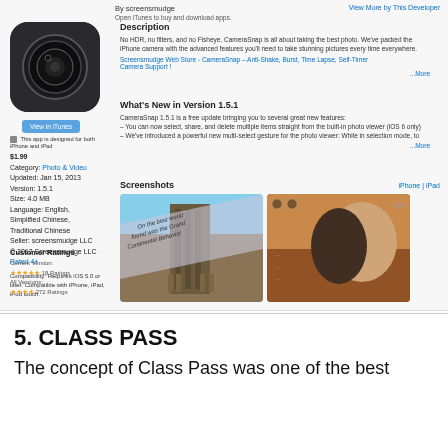By screensmudge
View More by This Developer
Open iTunes to buy and download apps.
[Figure (photo): App icon for CameraSnap showing a camera lens on dark background]
View in iTunes
This app is designed for both iPhone and iPad
$1.99
Category: Photo & Video
Updated: Jan 15, 2013
Version: 1.5.1
Size: 4.0 MB
Language: English, Simplified Chinese, Traditional Chinese
Seller: screensmudge LLC
© 2012 Screensmudge LLC
Rated 4+
Compatibility: Requires iOS 5.0 or later. Compatible with iPhone, iPad, iPod touch.
Customer Ratings
Current Version:
★★★★★ 18 Ratings
All Versions:
★★★★ 272 Ratings
Description
No HDR, no filters, and no Fisheye. CameraSnap is all about taking the best photo. We've packed the iPhone camera with the advanced features you'll need to take stunning pictures every time everywhere.
Screensmudge Web Store - CameraSnap - Anti-Shake, Burst, Time Lapse, Self-Timer Camera Support !
...More
What's New in Version 1.5.1
CameraSnap 1.5.1 is a free update bringing you to several great new features:
– You can now select, share, and delete multiple items straight from the built-in photo viewer (iOS 6 only)
– We've introduced a powerful new multi-select gesture for the photo viewer: While in selection mode, to
...More
Screenshots
iPhone | iPad
[Figure (screenshot): Screenshot of CameraSnap app showing a tall tower/building with diagonal text overlay]
[Figure (screenshot): Screenshot of CameraSnap app showing a couple outdoors on rocky terrain]
5. CLASS PASS
The concept of Class Pass was one of the best